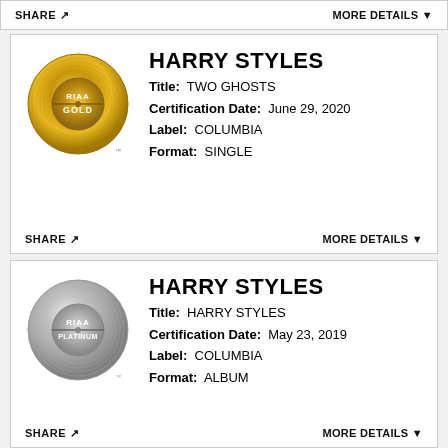SHARE   MORE DETAILS ▼
[Figure (illustration): RIAA Gold record badge - circular gold vinyl record with RIAA GOLD text]
HARRY STYLES
Title: TWO GHOSTS
Certification Date: June 29, 2020
Label: COLUMBIA
Format: SINGLE
SHARE   MORE DETAILS ▼
[Figure (illustration): RIAA Platinum record badge - circular silver/platinum vinyl record with RIAA PLATINUM text]
HARRY STYLES
Title: HARRY STYLES
Certification Date: May 23, 2019
Label: COLUMBIA
Format: ALBUM
SHARE   MORE DETAILS ▼